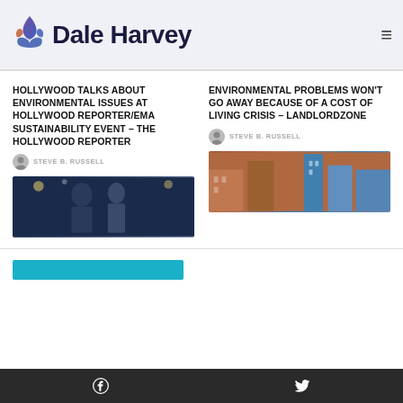[Figure (logo): Dale Harvey website logo with plant/hands icon and bold text 'Dale Harvey']
HOLLYWOOD TALKS ABOUT ENVIRONMENTAL ISSUES AT HOLLYWOOD REPORTER/EMA SUSTAINABILITY EVENT – THE HOLLYWOOD REPORTER
STEVE B. RUSSELL
[Figure (photo): Photo of people at a Hollywood sustainability event, dark background]
ENVIRONMENTAL PROBLEMS WON'T GO AWAY BECAUSE OF A COST OF LIVING CRISIS – LANDLORDZONE
STEVE B. RUSSELL
[Figure (photo): Photo of modern urban buildings/skyscrapers]
Facebook icon | Twitter icon